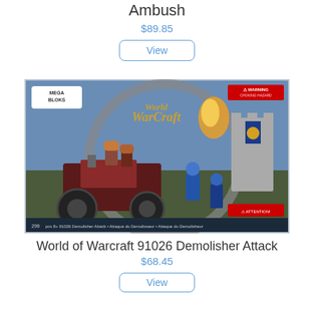Ambush
$89.85
View
[Figure (photo): World of Warcraft Mega Bloks 91026 Demolisher Attack product box image showing a Horde demolisher war machine and Alliance castle tower with figurines. Text on box: MEGA BLOKS, World of Warcraft, 299pcs, 8+, 91026, Demolisher Attack, Attaque du demolisseur.]
World of Warcraft 91026 Demolisher Attack
$68.45
View